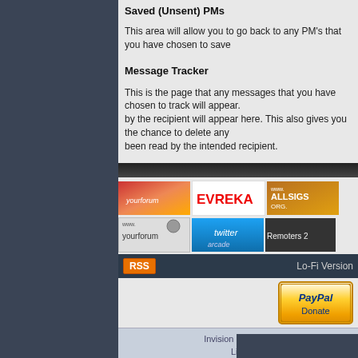Saved (Unsent) PMs
This area will allow you to go back to any PM's that you have chosen to save
Message Tracker
This is the page that any messages that you have chosen to track will appear. by the recipient will appear here. This also gives you the chance to delete any been read by the intended recipient.
[Figure (screenshot): Banner advertisements row including YourForum, Evreka, AllSigs, YourForum2, Twitter/arcade, and Remoters banners]
[Figure (infographic): RSS button and Lo-Fi Version link on dark navigation bar]
[Figure (screenshot): PayPal Donate button]
Invision Power Board v2.1.7 © 2022 I
Licensed to: invisiongames.org
YourForum - make yourself @ home | AllSigs - Signatures for all | Rock Band Remote Assistance | FileMiners - You as
A IPBSkinworks Design